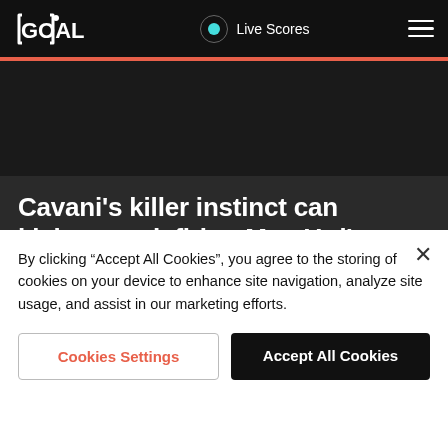GOAL | Live Scores
[Figure (screenshot): Dark hero image placeholder area below header]
Cavani's killer instinct can kickstart misfiring Man Utd's season
Charlotte Duncker
By clicking “Accept All Cookies”, you agree to the storing of cookies on your device to enhance site navigation, analyze site usage, and assist in our marketing efforts.
Cookies Settings | Accept All Cookies